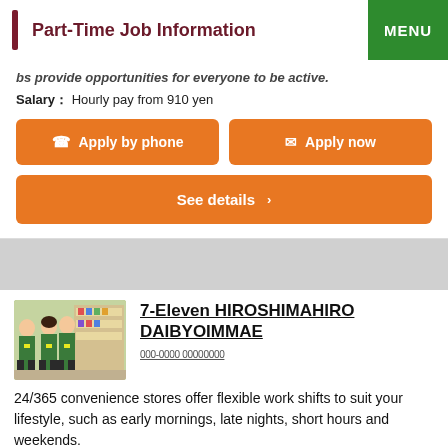Part-Time Job Information | MENU
bs provide opportunities for everyone to be active.
Salary： Hourly pay from 910 yen
Apply by phone
Apply now
See details
7-Eleven HIROSHIMAHIRO DAIBYOIMMAE
000-0000 00000000
24/365 convenience stores offer flexible work shifts to suit your lifestyle, such as early mornings, late nights, short hours and weekends.